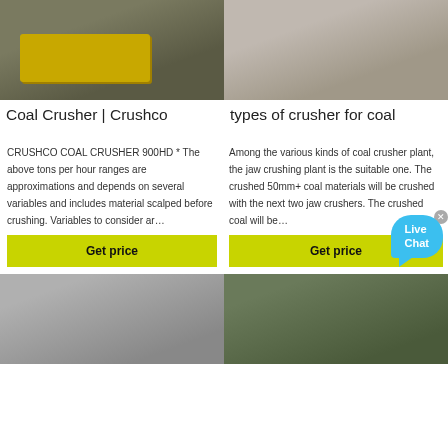[Figure (photo): Yellow coal crusher machine on wheels outdoors]
[Figure (photo): Gravel yard with equipment for coal crushing]
Coal Crusher | Crushco
types of crusher for coal
CRUSHCO COAL CRUSHER 900HD * The above tons per hour ranges are approximations and depends on several variables and includes material scalped before crushing. Variables to consider ar…
Among the various kinds of coal crusher plant, the jaw crushing plant is the suitable one. The crushed 50mm+ coal materials will be crushed with the next two jaw crushers. The crushed coal will be…
Get price
Get price
[Figure (photo): Indoor industrial crusher equipment]
[Figure (photo): Outdoor rusty metal roofing debris]